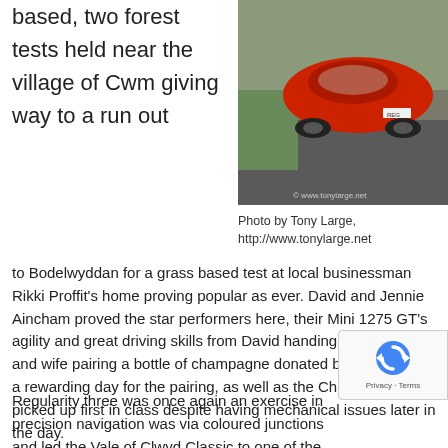based, two forest tests held near the village of Cwm giving way to a run out
[Figure (photo): A red classic car parked on a driveway/road, photographed from above. Watermark: © www.tonylarge.net]
Photo by Tony Large, http://www.tonylarge.net
to Bodelwyddan for a grass based test at local businessman Rikki Proffit's home proving popular as ever. David and Jennie Aincham proved the star performers here, their Mini 1275 GT's agility and great driving skills from David handing the husband and wife pairing a bottle of champagne donated by Rikki. It was a rewarding day for the pairing, as well as the Champagne, they picked up first in class despite having mechanical issues later in the day.
Regularity three was once again an exercise in precision navigation was via coloured junctions and led the Vale of Clwyd Classic to one of the turning points of the event d...